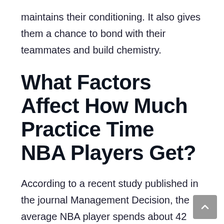maintains their conditioning. It also gives them a chance to bond with their teammates and build chemistry.
What Factors Affect How Much Practice Time NBA Players Get?
According to a recent study published in the journal Management Decision, the average NBA player spends about 42 hours per week practicing during the season. This